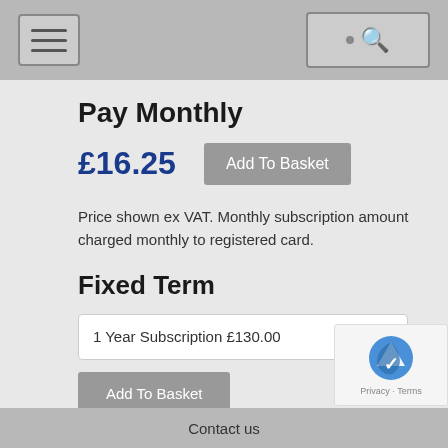Navigation bar with hamburger menu and search
Pay Monthly
£16.25
Add To Basket
Price shown ex VAT. Monthly subscription amount charged monthly to registered card.
Fixed Term
1 Year Subscription £130.00
Add To Basket
Invoice option available on fixed-term
Contact us